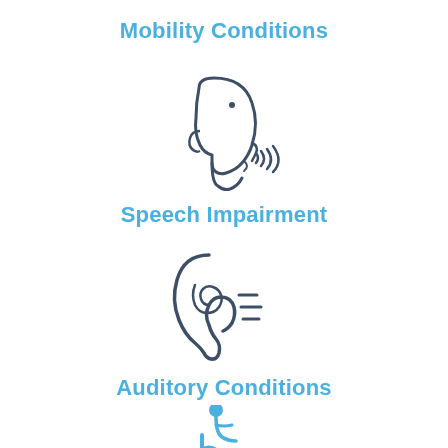Mobility Conditions
[Figure (illustration): Icon of a human head profile in side view with a sound wave coming from the mouth, representing speech impairment]
Speech Impairment
[Figure (illustration): Icon of an ear with sound wave lines emanating from it, representing auditory conditions]
Auditory Conditions
[Figure (illustration): Icon of a person in a wheelchair, colored blue, representing mobility conditions]